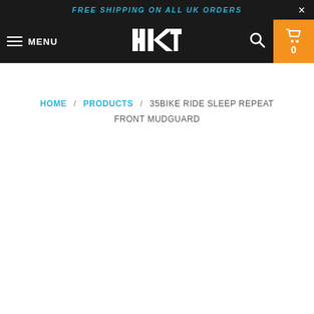FREE SHIPPING ON ALL UK ORDERS
MENU — HKT logo — Search — Cart 0
HOME / PRODUCTS / 35BIKE RIDE SLEEP REPEAT FRONT MUDGUARD